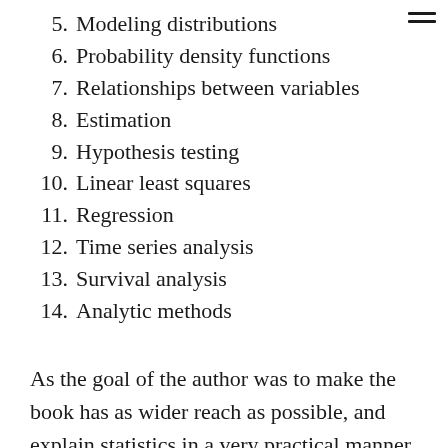5. Modeling distributions
6. Probability density functions
7. Relationships between variables
8. Estimation
9. Hypothesis testing
10. Linear least squares
11. Regression
12. Time series analysis
13. Survival analysis
14. Analytic methods
As the goal of the author was to make the book has as wider reach as possible, and explain statistics in a very practical manner, he made the